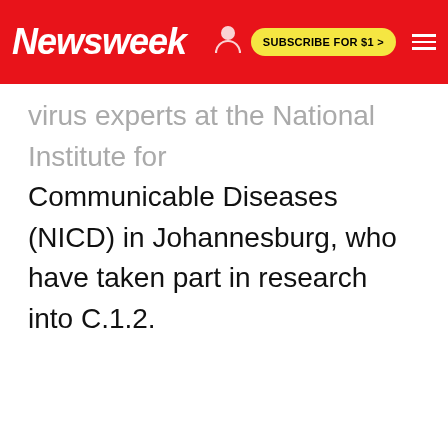Newsweek — SUBSCRIBE FOR $1 >
virus experts at the National Institute for Communicable Diseases (NICD) in Johannesburg, who have taken part in research into C.1.2.